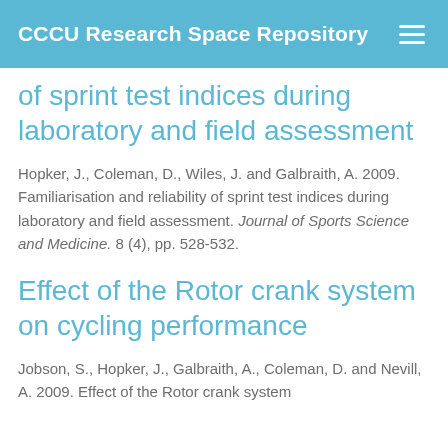CCCU Research Space Repository
of sprint test indices during laboratory and field assessment
Hopker, J., Coleman, D., Wiles, J. and Galbraith, A. 2009. Familiarisation and reliability of sprint test indices during laboratory and field assessment. Journal of Sports Science and Medicine. 8 (4), pp. 528-532.
Effect of the Rotor crank system on cycling performance
Jobson, S., Hopker, J., Galbraith, A., Coleman, D. and Nevill, A. 2009. Effect of the Rotor crank system